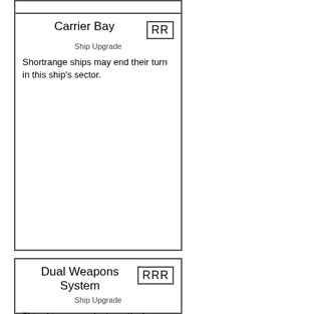Carrier Bay
Ship Upgrade
Shortrange ships may end their turn in this ship's sector.
Dual Weapons System
Ship Upgrade
This ship may make two attacks against a single target each turn.